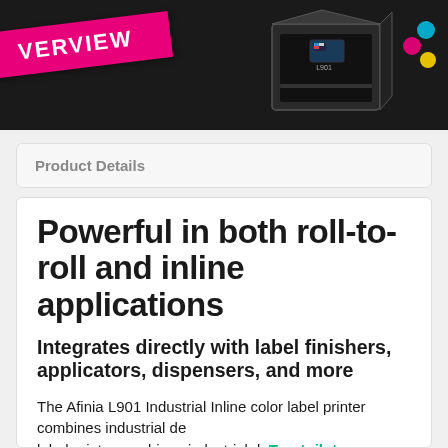[Figure (photo): Product review image showing the Afinia L901 Industrial Inline color label printer with a pink 'OVERVIEW' banner overlaid on a dark background. A printer box is visible on the right side with cyan, magenta, yellow ink dot graphics.]
Product Details
Powerful in both roll-to-roll and inline applications
Integrates directly with label finishers, applicators, dispensers, and more
The Afinia L901 Industrial Inline color label printer combines industrial de... exceptional image quality and high...